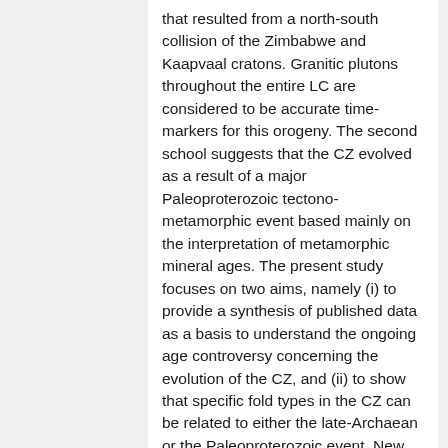that resulted from a north-south collision of the Zimbabwe and Kaapvaal cratons. Granitic plutons throughout the entire LC are considered to be accurate time-markers for this orogeny. The second school suggests that the CZ evolved as a result of a major Paleoproterozoic tectono-metamorphic event based mainly on the interpretation of metamorphic mineral ages. The present study focuses on two aims, namely (i) to provide a synthesis of published data as a basis to understand the ongoing age controversy concerning the evolution of the CZ, and (ii) to show that specific fold types in the CZ can be related to either the late-Archaean or the Paleoproterozoic event. New age, structural, metamorphic, and petrographic data are presented to show that (i) major sheath folds reflect the peak tectono-metamorphic event that affected the CZ in the late-Archaean, while (ii) major cross folds developed as a result of a transpressive event in the Paleoproterozoic. The age of formation of the Avoca sheath fold located about 40 km west of Alldays is constrained by the age of